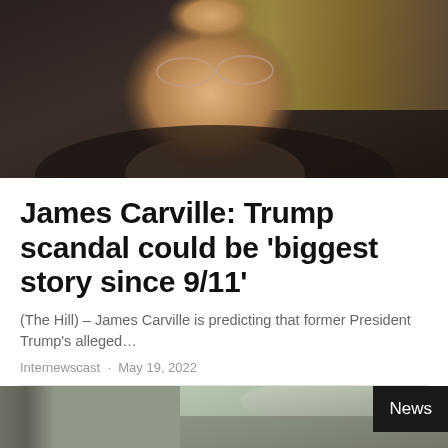[Figure (photo): Close-up photo of James Carville, a bald older man wearing glasses and a black jacket, speaking or talking, with a blurred background]
James Carville: Trump scandal could be ‘biggest story since 9/11’
(The Hill) – James Carville is predicting that former President Trump's alleged…
Internewscast · May 19, 2022
[Figure (photo): Partial bottom strip showing a blurred outdoor scene with trees and sky, with a dark 'News' badge in the bottom right corner]